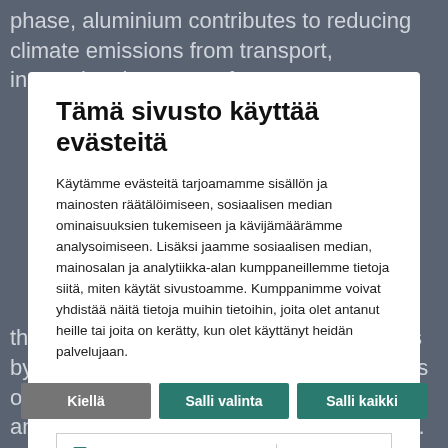phase, aluminium contributes to reducing climate emissions from transport, increasing the range of
Tämä sivusto käyttää evästeitä
Käytämme evästeitä tarjoamamme sisällön ja mainosten räätälöimiseen, sosiaalisen median ominaisuuksien tukemiseen ja kävijämäärämme analysoimiseen. Lisäksi jaamme sosiaalisen median, mainosalan ja analytiikka-alan kumppaneillemme tietoja siitä, miten käytät sivustoamme. Kumppanimme voivat yhdistää näitä tietoja muihin tietoihin, joita olet antanut heille tai joita on kerätty, kun olet käyttänyt heidän palvelujaan.
Kiellä | Salli valinta | Salli kaikki
✓ Välttämätön  ☐ Mieltymykset  ☐ Tilastot  ☐ Markkinointi  Näytä tiedot
the target of cutting own carbon emissions by 55% by 2030 and setting new ambitions of becoming net zero in terms of Scope 1 and 2 carbon emissions by 2050 or earlier.